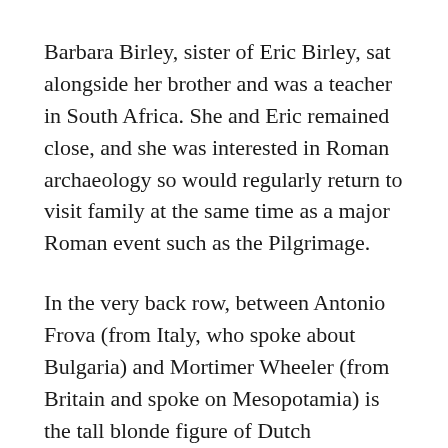Barbara Birley, sister of Eric Birley, sat alongside her brother and was a teacher in South Africa. She and Eric remained close, and she was interested in Roman archaeology so would regularly return to visit family at the same time as a major Roman event such as the Pilgrimage.
In the very back row, between Antonio Frova (from Italy, who spoke about Bulgaria) and Mortimer Wheeler (from Britain and spoke on Mesopotamia) is the tall blonde figure of Dutch anthropologist Guda van Giffen-Duyvis. Although her husband Albert Egges van Giffen spoke at the Congress, Guda attended the